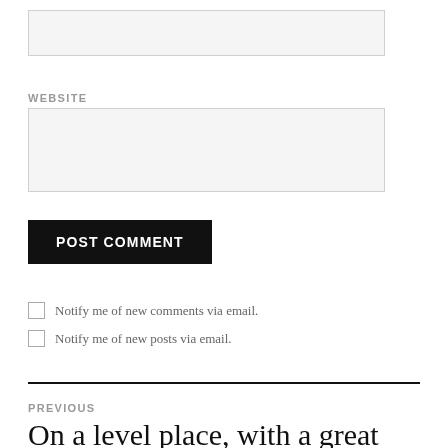[Figure (other): Text input field (empty, light gray background)]
WEBSITE
[Figure (other): Website text input field (empty, light gray background)]
POST COMMENT
Notify me of new comments via email.
Notify me of new posts via email.
PREVIOUS
On a level place, with a great